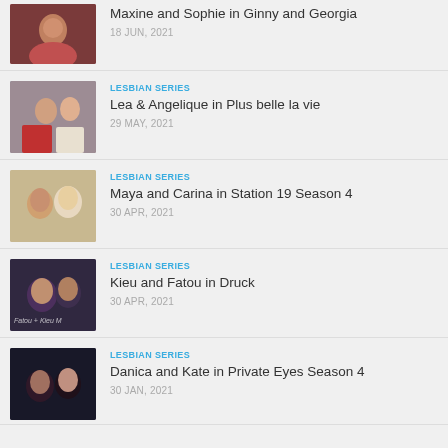Maxine and Sophie in Ginny and Georgia
18 JUN, 2021
LESBIAN SERIES
Lea & Angelique in Plus belle la vie
29 MAY, 2021
LESBIAN SERIES
Maya and Carina in Station 19 Season 4
30 APR, 2021
LESBIAN SERIES
Kieu and Fatou in Druck
30 APR, 2021
LESBIAN SERIES
Danica and Kate in Private Eyes Season 4
30 JAN, 2021